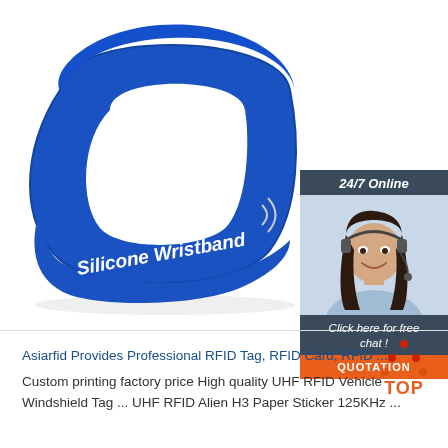[Figure (photo): Blue RFID silicone wristband with white text reading 'Silicone Wristband' on a white background]
[Figure (infographic): 24/7 Online chat widget with a female customer service agent wearing a headset. Dark blue-grey background with text 'Click here for free chat!' and an orange QUOTATION button.]
[Figure (logo): TOP icon — orange text 'TOP' with red dot triangle above it, used as a back-to-top navigation button]
Asiarfid Provides Professional RFID Tag, RFID Card, RFID ...
Custom printing factory price High quality UHF RFID Vehicle Windshield Tag ... UHF RFID Alien H3 Paper Sticker 125KHz ...